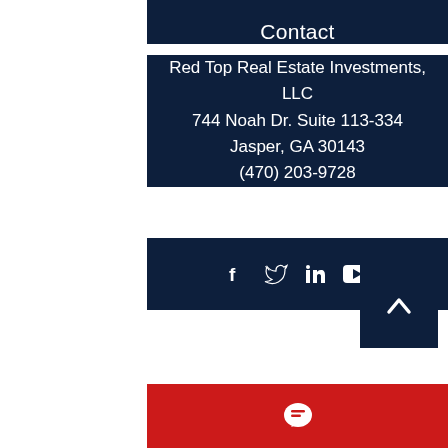Contact
Red Top Real Estate Investments, LLC
744 Noah Dr. Suite 113-334
Jasper, GA 30143
(470) 203-9728
[Figure (infographic): Social media icons: Facebook, Twitter, LinkedIn, YouTube]
[Figure (other): Back to top button with upward chevron arrow on dark navy background]
[Figure (other): Red bar with white chat/message bubble icon]